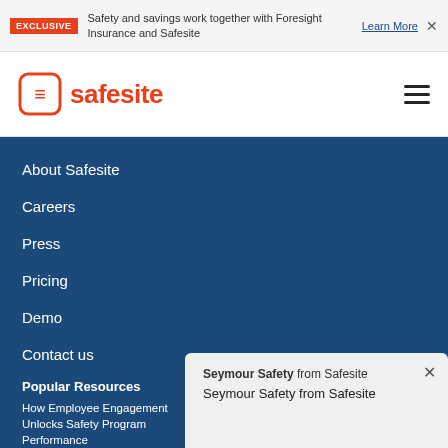EXCLUSIVE — Safety and savings work together with Foresight Insurance and Safesite — Learn More
[Figure (logo): Safesite logo with orange icon and wordmark]
About Safesite
Careers
Press
Pricing
Demo
Contact us
Support
Popular Resources
How Employee Engagement Unlocks Safety Program Performance
Seymour Safety from Safesite